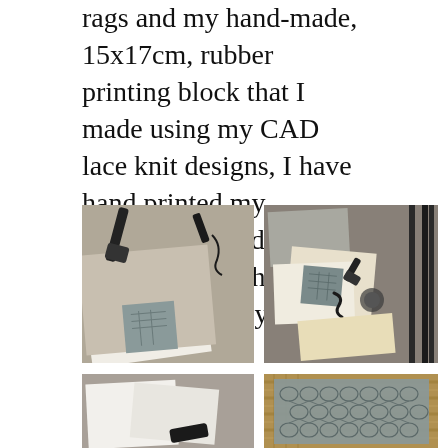rags and my hand-made, 15x17cm, rubber printing block that I made using my CAD lace knit designs, I have hand printed my tessellating Bird's Eye pattern across the stairwell wall by the MA Studio.
[Figure (photo): Top-down view of printing materials on a concrete surface: a rubber roller/brayer, a rubber printing block with a Bird's Eye lace pattern, and flat printing plates/foam sheets arranged on a workspace.]
[Figure (photo): Top-down view of printing materials on a concrete surface with metal railings visible: notebooks/paper, a rubber printing block showing the Bird's Eye pattern, a small roller, and other printing tools.]
[Figure (photo): Top-down view of white foam/printing plates and a dark tool on a concrete surface, partial view.]
[Figure (photo): Close-up of a rubber printing block showing a detailed tessellating Bird's Eye lace knit pattern, grey rubber on a textured background.]